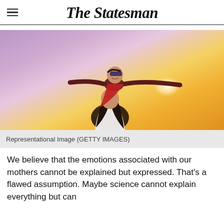The Statesman
[Figure (photo): A woman (mother) with a child wearing a superhero mask and red cape sitting on her shoulders, arms spread wide like flying, against a warm sunset sky background.]
Representational Image (GETTY IMAGES)
We believe that the emotions associated with our mothers cannot be explained but expressed. That's a flawed assumption. Maybe science cannot explain everything but can